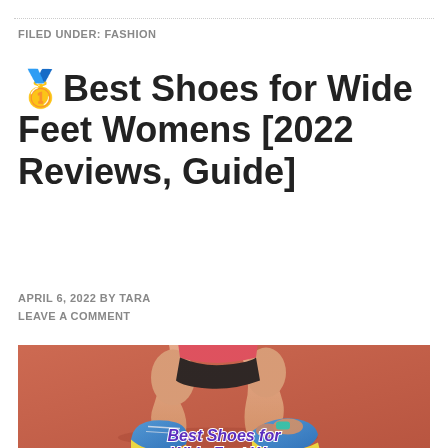FILED UNDER: FASHION
🥇Best Shoes for Wide Feet Womens [2022 Reviews, Guide]
APRIL 6, 2022 BY TARA
LEAVE A COMMENT
[Figure (photo): Woman crouching on a red running track tying the laces of blue sneakers, wearing a red top and black shorts. Text overlay reads 'Best Shoes for Wide Feet W...' in purple bold italic font.]